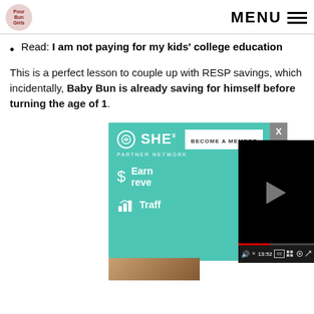MENU
Read: I am not paying for my kids' college education
This is a perfect lesson to couple up with RESP savings, which incidentally, Baby Bun is already saving for himself before turning the age of 1.
[Figure (screenshot): SHE Media Partner Network advertisement with teal background showing logo, Become a Member button, Earn revenue text, Traffic text, and an overlaid black video player showing paused state at 13:52 with controls, plus a close X button and a woman photo ad at bottom left.]